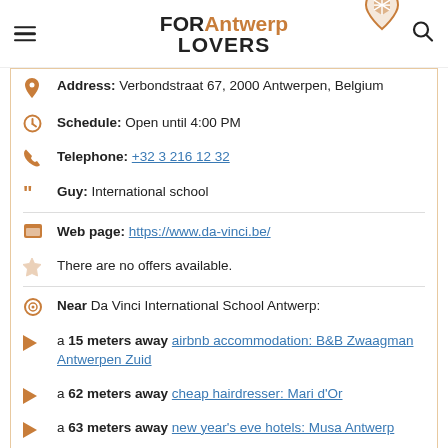FOR Antwerp LOVERS
Address: Verbondstraat 67, 2000 Antwerpen, Belgium
Schedule: Open until 4:00 PM
Telephone: +32 3 216 12 32
Guy: International school
Web page: https://www.da-vinci.be/
There are no offers available.
Near Da Vinci International School Antwerp:
a 15 meters away airbnb accommodation: B&B Zwaagman Antwerpen Zuid
a 62 meters away cheap hairdresser: Mari d'Or
a 63 meters away new year's eve hotels: Musa Antwerp